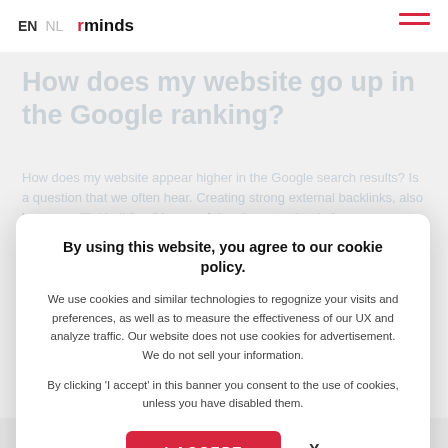EN  NL  rminds [hamburger menu]
How does my website go up in the Google ranking?
How does my website appear higher in the Google search results? Is a question that we often hear. Creating strong external backlinks, also known as "linkbuilding," is one of the elements that helps your
By using this website, you agree to our cookie policy.

We use cookies and similar technologies to regognize your visits and preferences, as well as to measure the effectiveness of our UX and analyze traffic. Our website does not use cookies for advertisement. We do not sell your information.

By clicking 'I accept' in this banner you consent to the use of cookies, unless you have disabled them.

I ACCEPT    X